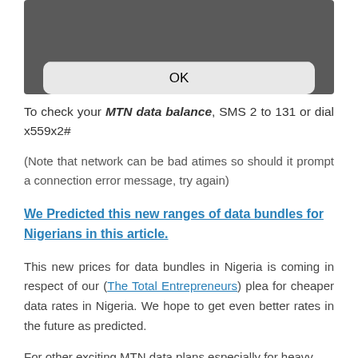[Figure (screenshot): Mobile phone dialog screenshot showing an OK button on a dark background]
To check your MTN data balance, SMS 2 to 131 or dial x559x2#
(Note that network can be bad atimes so should it prompt a connection error message, try again)
We Predicted this new ranges of data bundles for Nigerians in this article.
This new prices for data bundles in Nigeria is coming in respect of our (The Total Entrepreneurs) plea for cheaper data rates in Nigeria. We hope to get even better rates in the future as predicted.
For other exciting MTN data plans especially for heavy